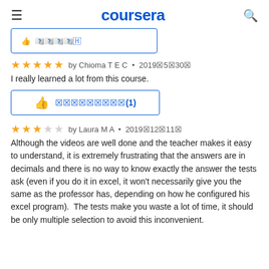coursera
[Figure (screenshot): Partial helpful button row at top of page, partially cropped]
⭐⭐⭐⭐⭐ by Chioma T E C • 2019年5月30日
I really learned a lot from this course.
[Figure (other): Thumbs up helpful button with text 役に立った(1)]
⭐⭐⭐ by Laura M A • 2019年12月11日
Although the videos are well done and the teacher makes it easy to understand, it is extremely frustrating that the answers are in decimals and there is no way to know exactly the answer the tests ask (even if you do it in excel, it won't necessarily give you the same as the professor has, depending on how he configured his excel program).  The tests make you waste a lot of time, it should be only multiple selection to avoid this inconvenient.